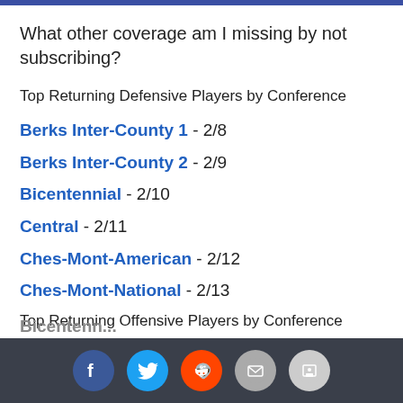What other coverage am I missing by not subscribing?
Top Returning Defensive Players by Conference
Berks Inter-County 1 - 2/8
Berks Inter-County 2 - 2/9
Bicentennial - 2/10
Central - 2/11
Ches-Mont-American - 2/12
Ches-Mont-National - 2/13
Top Returning Offensive Players by Conference
Berks Inter-County 1
Berks Inter-County 2
Bicentennial [social share bar]